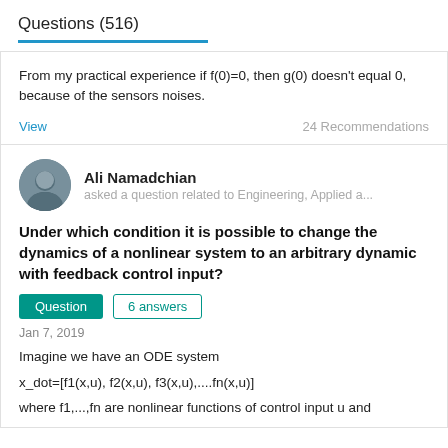Questions (516)
From my practical experience if f(0)=0, then g(0) doesn't equal 0, because of the sensors noises.
View  24 Recommendations
Ali Namadchian
asked a question related to Engineering, Applied a...
Under which condition it is possible to change the dynamics of a nonlinear system to an arbitrary dynamic with feedback control input?
Question  6 answers
Jan 7, 2019
Imagine we have an ODE system
x_dot=[f1(x,u), f2(x,u), f3(x,u),....fn(x,u)]
where f1,...,fn are nonlinear functions of control input u and